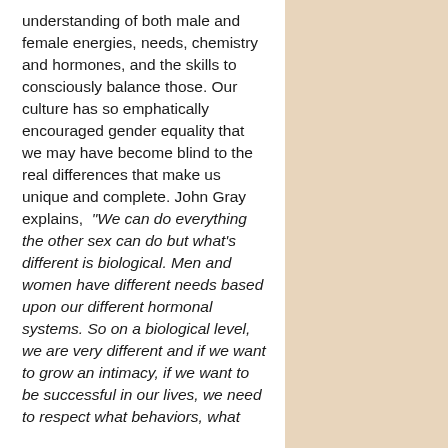understanding of both male and female energies, needs, chemistry and hormones, and the skills to consciously balance those. Our culture has so emphatically encouraged gender equality that we may have become blind to the real differences that make us unique and complete. John Gray explains, “We can do everything the other sex can do but what’s different is biological. Men and women have different needs based upon our different hormonal systems. So on a biological level, we are very different and if we want to grow an intimacy, if we want to be successful in our lives, we need to respect what behaviors, what